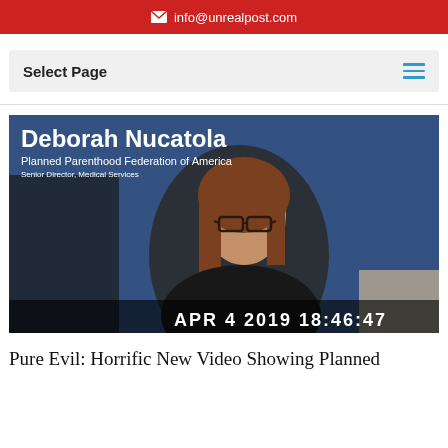✉ info@unrealpost.com
Select Page
[Figure (screenshot): Video still of Deborah Nucatola, Planned Parenthood Federation of America, Senior Director, Medical Services. Timestamp APR 4 2019 18:46:47 shown at bottom. Woman with glasses and brown hair seated in front of blue background.]
Pure Evil: Horrific New Video Showing Planned